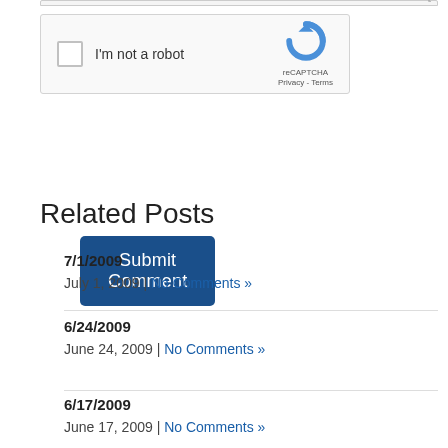[Figure (screenshot): reCAPTCHA widget with checkbox labeled 'I'm not a robot' and reCAPTCHA logo]
Submit Comment
Related Posts
7/1/2009
July 1, 2009 | No Comments »
6/24/2009
June 24, 2009 | No Comments »
6/17/2009
June 17, 2009 | No Comments »